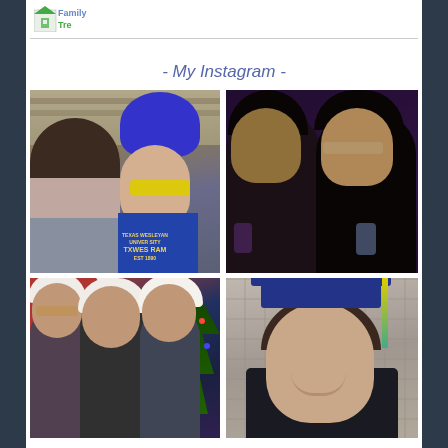[Figure (logo): Family Tree logo with house icon, green and blue text]
- My Instagram -
[Figure (photo): Selfie at stadium with two people, one wearing a blue curly wig and yellow sunglasses with Texas Wesleyan University RAM shirt]
[Figure (photo): Two people in a dark room with purple/pink lighting, holding drinks]
[Figure (photo): Three people wearing white bear ear hats in front of a Christmas tree]
[Figure (photo): Young woman in blue graduation cap and gown smiling]